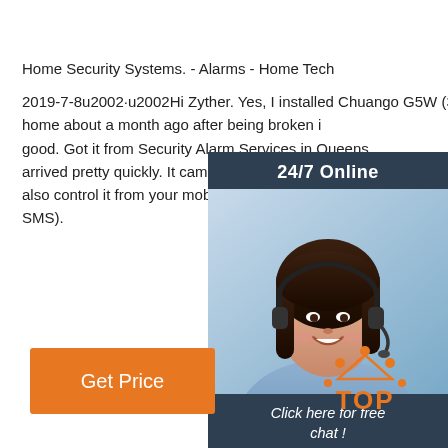Home Security Systems. - Alarms - Home Tech
2019-7-8u2002·u2002Hi Zyther. Yes, I installed Chuango G5W (3G) at my home about a month ago after being broken in good. Got it from Security Alarm Services in Queensland, arrived pretty quickly. It came with a couple of keyfobs, also control it from your mobile (via SMS or app which uses SMS).
[Figure (photo): Customer service woman with headset, 24/7 Online chat widget with 'Click here for free chat!' and QUOTATION button]
Get Price
[Figure (logo): TOP logo with orange dots arranged in arc and orange TOP text]